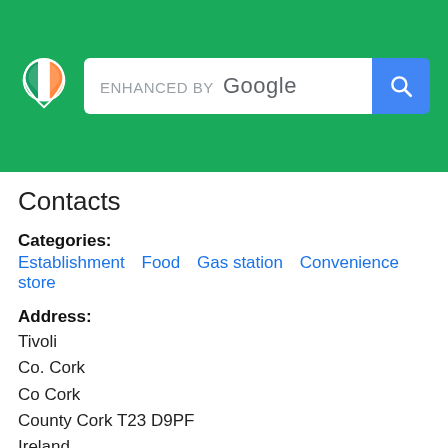[Figure (screenshot): Green header bar with Irish map pin logo and Google search bar with search button]
Contacts
Categories:
Establishment  Food  Gas station  Convenience store
Address:
Tivoli
Co. Cork
Co Cork
County Cork T23 D9PF
Ireland
Get directions
Phone number:
+353 21 455 9300
Website: